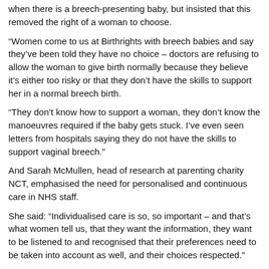when there is a breech-presenting baby, but insisted that this removed the right of a woman to choose.
“Women come to us at Birthrights with breech babies and say they’ve been told they have no choice – doctors are refusing to allow the woman to give birth normally because they believe it’s either too risky or that they don’t have the skills to support her in a normal breech birth.
“They don’t know how to support a woman, they don’t know the manoeuvres required if the baby gets stuck. I’ve even seen letters from hospitals saying they do not have the skills to support vaginal breech.”
And Sarah McMullen, head of research at parenting charity NCT, emphasised the need for personalised and continuous care in NHS staff.
She said: “Individualised care is so, so important – and that’s what women tell us, that they want the information, they want to be listened to and recognised that their preferences need to be taken into account as well, and their choices respected.”
NHE’s investigation also revealed that nationwide caesarean rates are higher than ever and well above the World Health Organisation’s recommended rate,